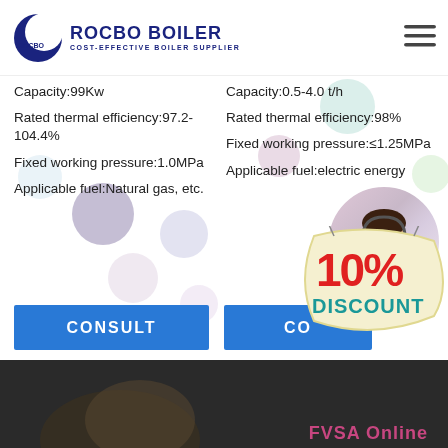[Figure (logo): Rocbo Boiler logo with crescent moon icon, text: ROCBO BOILER, subtitle: COST-EFFECTIVE BOILER SUPPLIER]
Capacity:99Kw
Rated thermal efficiency:97.2-104.4%
Fixed working pressure:1.0MPa
Applicable fuel:Natural gas, etc.
Capacity:0.5-4.0 t/h
Rated thermal efficiency:98%
Fixed working pressure:≤1.25MPa
Applicable fuel:electric energy
[Figure (infographic): 10% DISCOUNT badge in red and teal on cream background]
[Figure (photo): Customer service representative wearing headset, woman smiling]
[Figure (photo): Bottom section showing dark background with partially visible woman's face, text FVSA Online partially visible in pink/red]